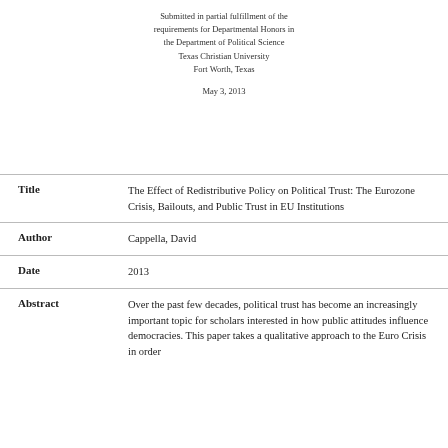Submitted in partial fulfillment of the requirements for Departmental Honors in the Department of Political Science Texas Christian University Fort Worth, Texas
May 3, 2013
| Field | Value |
| --- | --- |
| Title | The Effect of Redistributive Policy on Political Trust: The Eurozone Crisis, Bailouts, and Public Trust in EU Institutions |
| Author | Cappella, David |
| Date | 2013 |
| Abstract | Over the past few decades, political trust has become an increasingly important topic for scholars interested in how public attitudes influence democracies. This paper takes a qualitative approach to the Euro Crisis in order |